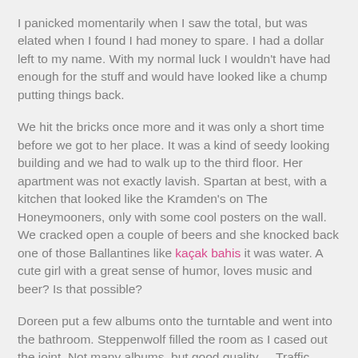I panicked momentarily when I saw the total, but was elated when I found I had money to spare. I had a dollar left to my name. With my normal luck I wouldn't have had enough for the stuff and would have looked like a chump putting things back.
We hit the bricks once more and it was only a short time before we got to her place. It was a kind of seedy looking building and we had to walk up to the third floor. Her apartment was not exactly lavish. Spartan at best, with a kitchen that looked like the Kramden's on The Honeymooners, only with some cool posters on the wall. We cracked open a couple of beers and she knocked back one of those Ballantines like kaçak bahis it was water. A cute girl with a great sense of humor, loves music and beer? Is that possible?
Doreen put a few albums onto the turntable and went into the bathroom. Steppenwolf filled the room as I cased out the joint. Not many albums, but good quality ....Traffic, Janis, Jeff Beck Group, The Kinks ....oooh I love this girl already! What the hell am I going to say when she comes out of the bathroom? I had to think of something! Something funny, something clever, something that doesn't make me sound as nervous and as inept as I felt.